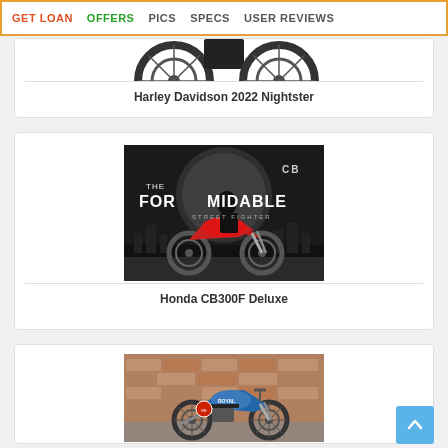GET LOAN  OFFERS  PICS  SPECS  USER REVIEWS
[Figure (photo): Partial view of Harley Davidson 2022 Nightster wheels/tires cropped at top]
Harley Davidson 2022 Nightster
[Figure (photo): Honda CB300F Deluxe promotional image with text THE FORMIDABLE STREET FIGHTER, rider on red and black motorcycle against dark city background]
Honda CB300F Deluxe
[Figure (photo): Royal Enfield motorcycle in blue/teal color parked against brick wall background, partially visible]
[Figure (other): Back to top button - blue square with upward chevron arrow]